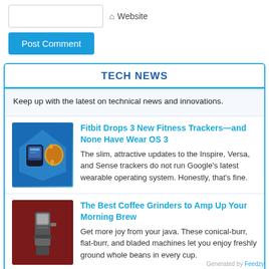[Figure (screenshot): Website input field (text box) and Website label with home icon]
Website
Post Comment
TECH NEWS
Keep up with the latest on technical news and innovations.
[Figure (photo): Fitbit fitness trackers product image on blue background]
Fitbit Drops 3 New Fitness Trackers—and None Have Wear OS 3
The slim, attractive updates to the Inspire, Versa, and Sense trackers do not run Google's latest wearable operating system. Honestly, that's fine.
[Figure (photo): Coffee grinder product image on dark red background]
The Best Coffee Grinders to Amp Up Your Morning Brew
Get more joy from your java. These conical-burr, flat-burr, and bladed machines let you enjoy freshly ground whole beans in every cup.
Generated by Feedzy